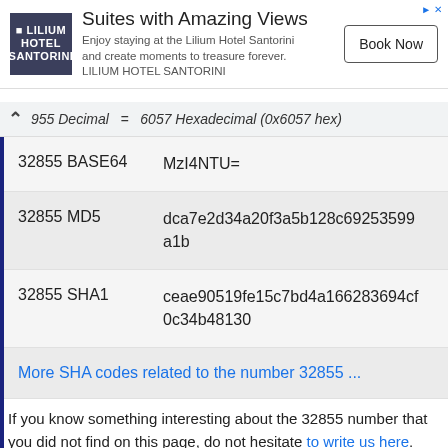[Figure (other): Advertisement banner for Lilium Hotel Santorini with logo, headline 'Suites with Amazing Views', description text, and 'Book Now' button]
955 Decimal  =  6057 Hexadecimal (0x6057 hex)
| 32855 BASE64 | MzI4NTU= |
| 32855 MD5 | dca7e2d34a20f3a5b128c69253599a1b |
| 32855 SHA1 | ceae90519fe15c7bd4a166283694cf0c34b48130 |
More SHA codes related to the number 32855 ...
If you know something interesting about the 32855 number that you did not find on this page, do not hesitate to write us here.